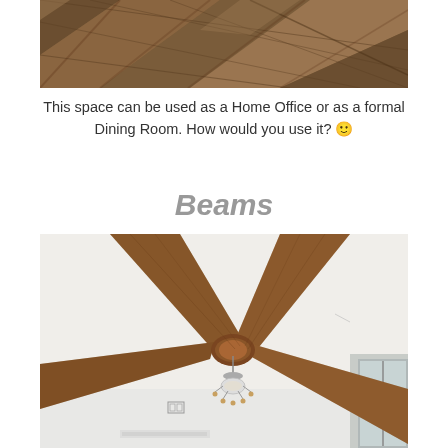[Figure (photo): Close-up of diagonal wood plank flooring or ceiling in various brown tones]
This space can be used as a Home Office or as a formal Dining Room. How would you use it? 🙂
Beams
[Figure (photo): Interior ceiling with rustic wooden X-shaped crossed beams meeting at center with a hanging light fixture, white walls and window visible]